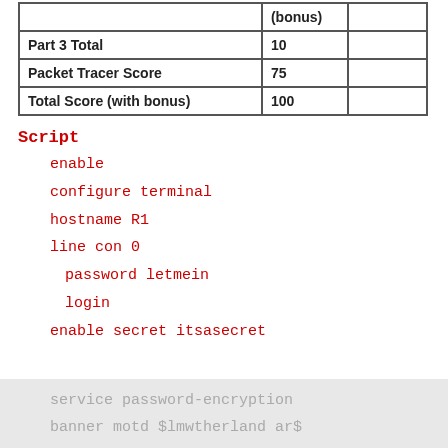|  | (bonus) |  |
| --- | --- | --- |
| Part 3 Total | 10 |  |
| Packet Tracer Score | 75 |  |
| Total Score (with bonus) | 100 |  |
Script
enable
configure terminal
hostname R1
line con 0
password letmein
login
enable secret itsasecret
service password-encryption
banner motd $lmwtherland ar$